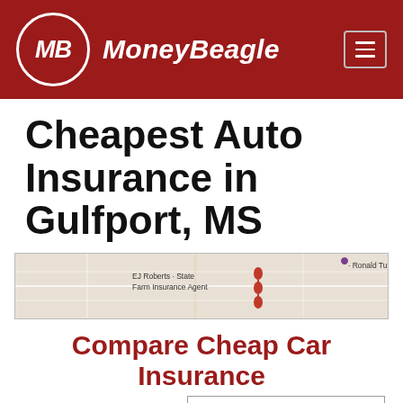[Figure (logo): MoneyBeagle logo with red header background, white circular MB emblem and italic MoneyBeagle text, hamburger menu icon top right]
Cheapest Auto Insurance in Gulfport, MS
[Figure (map): Google Maps screenshot showing Gulfport MS area with red location pins near EJ Roberts State Farm Insurance Agent label and Ronald Tubb marker]
Compare Cheap Car Insurance Quotes Now
Enter Zip
Get Rates >